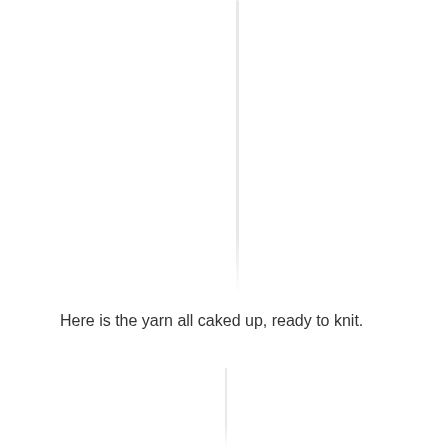Here is the yarn all caked up, ready to knit.